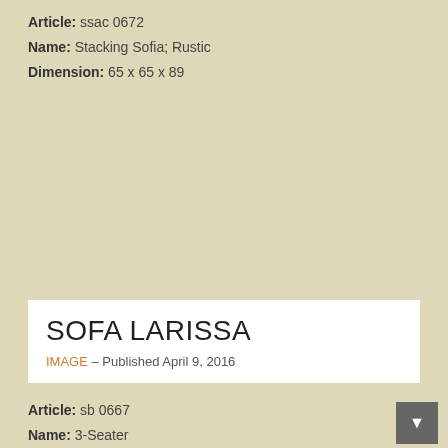Article: ssac 0672
Name: Stacking Sofia; Rustic
Dimension: 65 x 65 x 89
SOFA LARISSA
IMAGE – Published April 9, 2016
Article: sb 0667
Name: 3-Seater